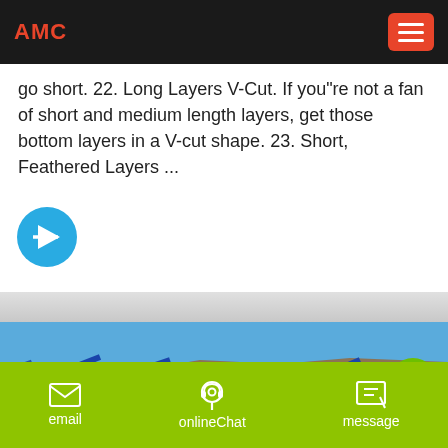AMC
go short. 22. Long Layers V-Cut. If you"re not a fan of short and medium length layers, get those bottom layers in a V-cut shape. 23. Short, Feathered Layers ...
[Figure (other): Circular blue arrow button pointing right]
[Figure (photo): Outdoor industrial scene with blue conveyor equipment and machinery at a quarry or mining site against a blue sky]
email   onlineChat   message